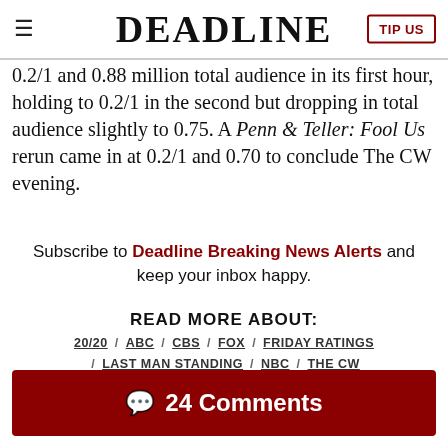DEADLINE
0.2/1 and 0.88 million total audience in its first hour, holding to 0.2/1 in the second but dropping in total audience slightly to 0.75. A Penn & Teller: Fool Us rerun came in at 0.2/1 and 0.70 to conclude The CW evening.
Subscribe to Deadline Breaking News Alerts and keep your inbox happy.
READ MORE ABOUT:
20/20 / ABC / CBS / FOX / FRIDAY RATINGS / LAST MAN STANDING / NBC / THE CW
24 Comments